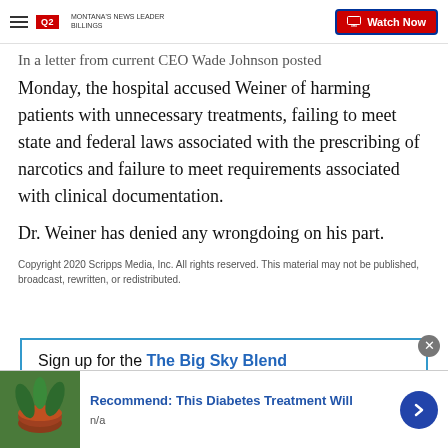Q2 MONTANA'S NEWS LEADER BILLINGS | Watch Now
In a letter from current CEO Wade Johnson posted Monday, the hospital accused Weiner of harming patients with unnecessary treatments, failing to meet state and federal laws associated with the prescribing of narcotics and failure to meet requirements associated with clinical documentation.
Dr. Weiner has denied any wrongdoing on his part.
Copyright 2020 Scripps Media, Inc. All rights reserved. This material may not be published, broadcast, rewritten, or redistributed.
Sign up for the The Big Sky Blend
[Figure (screenshot): Advertisement banner: Recommend: This Diabetes Treatment Will — n/a, with a food/drink image on the left and a blue arrow button on the right]